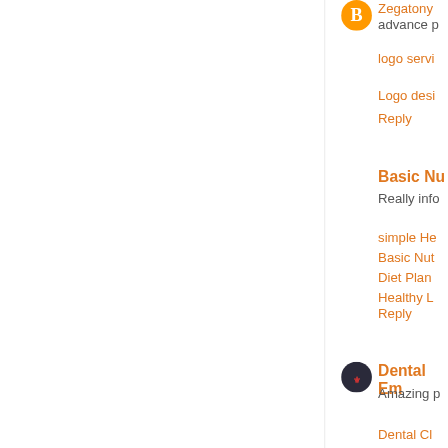[Figure (illustration): Orange circular Blogger avatar icon]
Zegatony
advance p
logo servi
Logo desi
Reply
Basic Nu
Really info
simple He
Basic Nut
Diet Plan
Healthy L
Reply
[Figure (illustration): Dark circular avatar with logo/icon]
Dental Em
Amazing p
Dental Cl